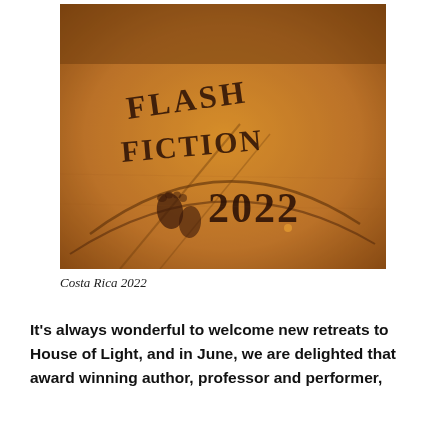[Figure (photo): A photograph of words written in sand on a beach: 'FLASH FICTION 2022', with footprints visible. Warm golden-orange light. Taken in Costa Rica 2022.]
Costa Rica 2022
It's always wonderful to welcome new retreats to House of Light, and in June, we are delighted that award winning author, professor and performer,